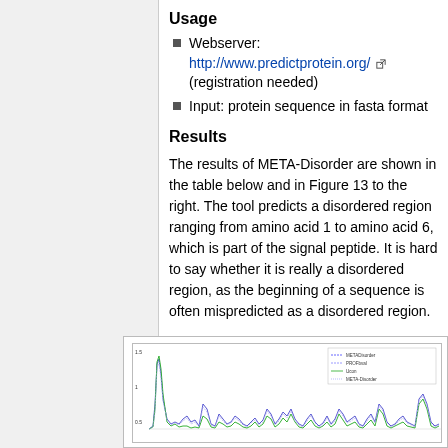Usage
Webserver: http://www.predictprotein.org/ (registration needed)
Input: protein sequence in fasta format
Results
The results of META-Disorder are shown in the table below and in Figure 13 to the right. The tool predicts a disordered region ranging from amino acid 1 to amino acid 6, which is part of the signal peptide. It is hard to say whether it is really a disordered region, as the beginning of a sequence is often mispredicted as a disordered region.
[Figure (continuous-plot): Line chart showing META-Disorder prediction scores across amino acid sequence positions, with multiple overlapping lines in blue, green, and other colors representing different predictors (METADisorder, PROFbval, Ucon, META-Disorder). Y-axis shows scores from 0 to 1.5. Multiple peaks visible especially at the beginning of the sequence.]